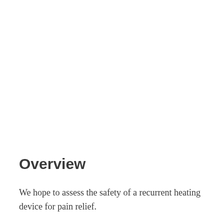Overview
We hope to assess the safety of a recurrent heating device for pain relief.